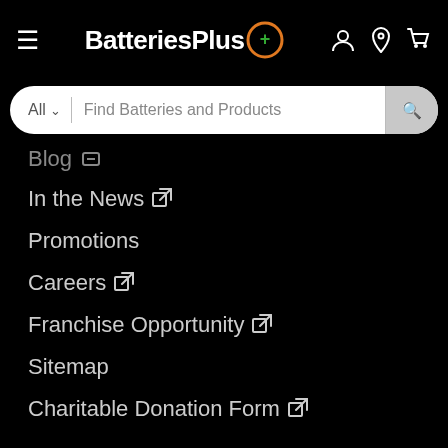BatteriesPlus+ [hamburger menu, account, location, cart icons]
All ∨ | Find Batteries and Products [search button]
Blog [minus icon]
In the News [external link]
Promotions
Careers [external link]
Franchise Opportunity [external link]
Sitemap
Charitable Donation Form [external link]
Product Support
FAQs